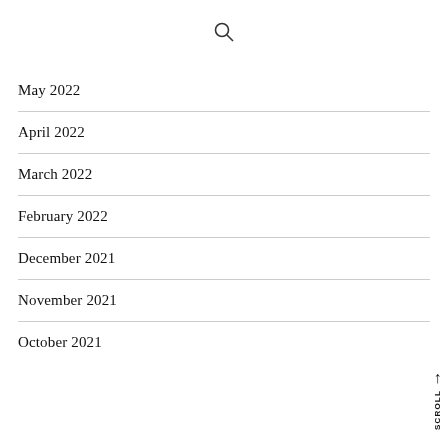[Figure (other): Search icon (magnifying glass)]
May 2022
April 2022
March 2022
February 2022
December 2021
November 2021
October 2021